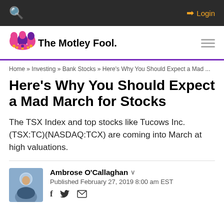The Motley Fool — Login
Home » Investing » Bank Stocks » Here's Why You Should Expect a Mad ...
Here's Why You Should Expect a Mad March for Stocks
The TSX Index and top stocks like Tucows Inc. (TSX:TC)(NASDAQ:TCX) are coming into March at high valuations.
Ambrose O'Callaghan
Published February 27, 2019 8:00 am EST